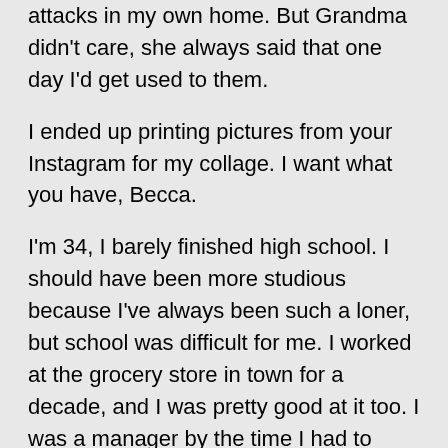attacks in my own home. But Grandma didn't care, she always said that one day I'd get used to them.
I ended up printing pictures from your Instagram for my collage. I want what you have, Becca.
I'm 34, I barely finished high school. I should have been more studious because I've always been such a loner, but school was difficult for me. I worked at the grocery store in town for a decade, and I was pretty good at it too. I was a manager by the time I had to leave to take care of Grandma full time. I had a boyfriend there. Carl's married with three kids. We started out as friends, but then we started going to the bar in town after work. He'd tell me how miserable he was, how he never wanted their third kid. He even called me cute a few times. I know, I know! I should never have dated a married guy, but "listen to your body", isn't that what you always say Becca? And every part of my body